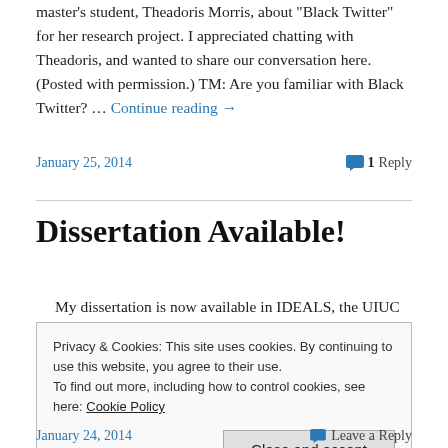master's student, Theadoris Morris, about "Black Twitter" for her research project.  I appreciated chatting with Theadoris, and wanted to share our conversation here. (Posted with permission.) TM: Are you familiar with Black Twitter?  … Continue reading →
January 25, 2014
1 Reply
Dissertation Available!
My dissertation is now available in IDEALS, the UIUC
Privacy & Cookies: This site uses cookies. By continuing to use this website, you agree to their use.
To find out more, including how to control cookies, see here: Cookie Policy
Close and accept
January 24, 2014
Leave a Reply